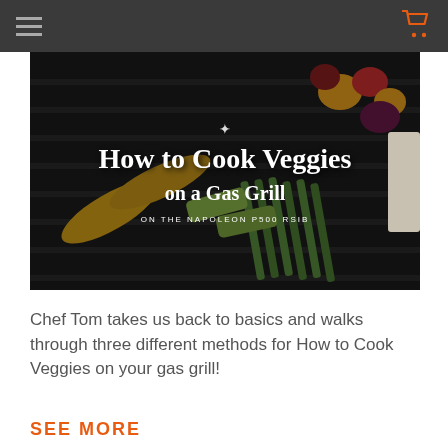[hamburger menu] [shopping cart icon]
[Figure (photo): Dark overhead photo of vegetables (corn, asparagus, peppers, zucchini) on a gas grill grate with white overlay text reading 'How to Cook Veggies on a Gas Grill - ON THE NAPOLEON P500 RSIB']
Chef Tom takes us back to basics and walks through three different methods for How to Cook Veggies on your gas grill!
SEE MORE